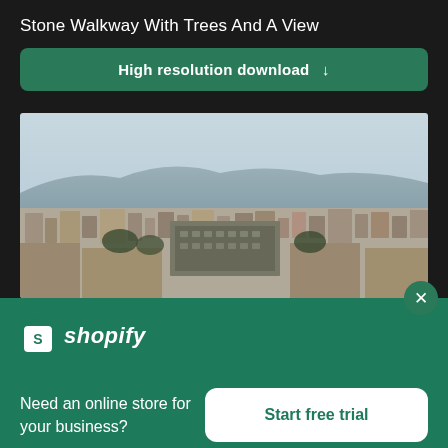Stone Walkway With Trees And A View
High resolution download ↓
[Figure (photo): Aerial cityscape photograph showing a dense urban area with many buildings, mountains in the background, and hazy sky — appears to be Athens, Greece]
[Figure (logo): Shopify logo — shopping bag icon with letter S, followed by italic text 'shopify']
Need an online store for your business?
Start free trial